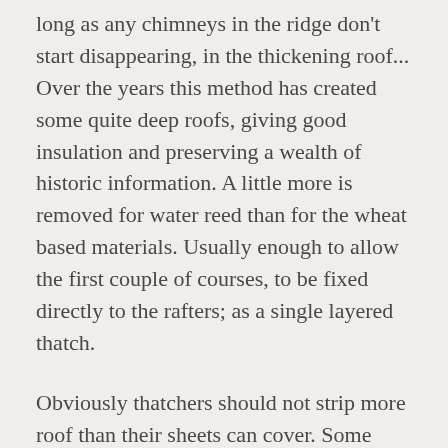long as any chimneys in the ridge don't start disappearing, in the thickening roof... Over the years this method has created some quite deep roofs, giving good insulation and preserving a wealth of historic information. A little more is removed for water reed than for the wheat based materials. Usually enough to allow the first couple of courses, to be fixed directly to the rafters; as a single layered thatch.
Obviously thatchers should not strip more roof than their sheets can cover. Some thatchers only remove enough for each day; or even strip the roof as they go. Whatever